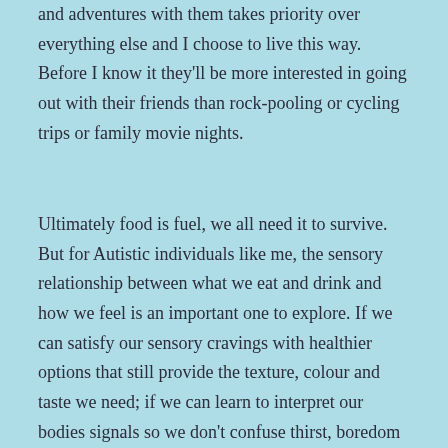and adventures with them takes priority over everything else and I choose to live this way. Before I know it they'll be more interested in going out with their friends than rock-pooling or cycling trips or family movie nights.
Ultimately food is fuel, we all need it to survive. But for Autistic individuals like me, the sensory relationship between what we eat and drink and how we feel is an important one to explore. If we can satisfy our sensory cravings with healthier options that still provide the texture, colour and taste we need; if we can learn to interpret our bodies signals so we don't confuse thirst, boredom or tiredness with hunger; then we can achieve a healthy lifestyle and maintain a healthy weight without it becoming an obsession or a burden.